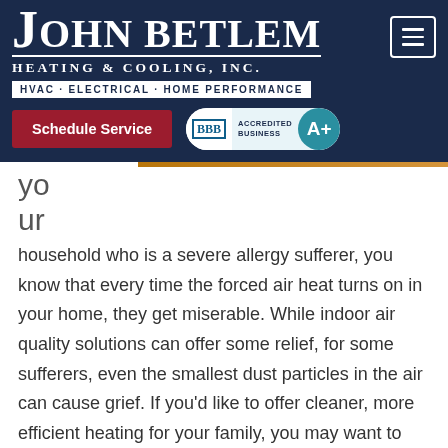[Figure (logo): John Betlem Heating & Cooling, Inc. logo with text HVAC · ELECTRICAL · HOME PERFORMANCE on dark navy background]
[Figure (other): Schedule Service red button and BBB Accredited Business A+ badge]
yo

ur
household who is a severe allergy sufferer, you know that every time the forced air heat turns on in your home, they get miserable. While indoor air quality solutions can offer some relief, for some sufferers, even the smallest dust particles in the air can cause grief. If you'd like to offer cleaner, more efficient heating for your family, you may want to consider radiant heating from John Betlem Heating & Cooling